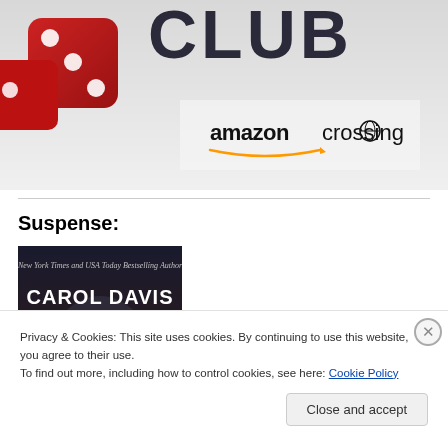[Figure (photo): Partial book cover image with red dice and 'amazon crossing' logo visible at bottom. Text partially visible at top reads 'CLOB' or similar large letters.]
Suspense:
[Figure (photo): Book cover: Carol Davis Luce - LUCE. Shows a woman's face with dark dramatic styling, red markings. Subtitle reads 'New York Times and USA Today Bestselling Author'.]
Privacy & Cookies: This site uses cookies. By continuing to use this website, you agree to their use.
To find out more, including how to control cookies, see here: Cookie Policy
Close and accept